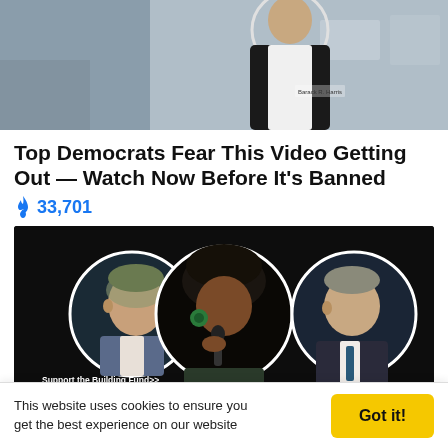[Figure (photo): Partial view of a person in a dark jacket, cropped at top, with warehouse-like background. A circular portrait overlay is visible at top center.]
Top Democrats Fear This Video Getting Out — Watch Now Before It's Banned
🔥 33,701
[Figure (photo): Black background with three circular portrait photos of politicians: a white man in a suit on the left, a Black woman in a headscarf speaking into a microphone in the center, and another man in a suit on the right. Text at bottom: 'Support the Building Fund>>' and 'PAID FOR BY THE NRCC AND NOT AUTHORIZED BY ANY CANDIDATE OR CANDIDATES COMMITTEE WWW.NRCC.ORG']
This website uses cookies to ensure you get the best experience on our website
Got it!